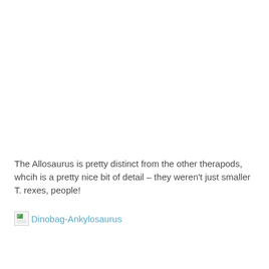The Allosaurus is pretty distinct from the other therapods, whcih is a pretty nice bit of detail – they weren't just smaller T. rexes, people!
[Figure (illustration): Broken image placeholder with link text 'Dinobag-Ankylosaurus' shown as a hyperlink in teal/cyan color]